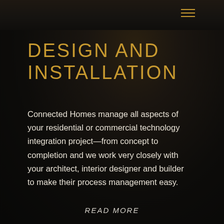[Figure (photo): Dark blurred photograph at top of page, partially visible]
≡ (hamburger menu icon)
DESIGN AND INSTALLATION
Connected Homes manage all aspects of your residential or commercial technology integration project—from concept to completion and we work very closely with your architect, interior designer and builder to make their process management easy.
READ MORE